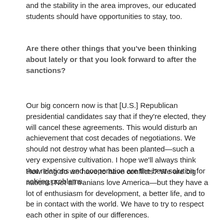and the stability in the area improves, our educated students should have opportunities to stay, too.
Are there other things that you've been thinking about lately or that you look forward to after the sanctions?
Our big concern now is that [U.S.] Republican presidential candidates say that if they're elected, they will cancel these agreements. This would disturb an achievement that cost decades of negotiations. We should not destroy what has been planted—such a very expensive cultivation. I hope we'll always think that relations and cooperation are the best solution for solving problems.
How long do we have to have conflicts? We are big nations! Not all Iranians love America—but they have a lot of enthusiasm for development, a better life, and to be in contact with the world. We have to try to respect each other in spite of our differences.